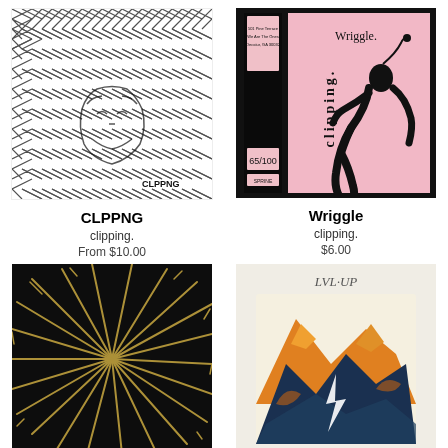[Figure (illustration): Black and white illustration of a face behind chain-link fence, labeled CLPPNG]
CLPPNG
clipping.
From $10.00
[Figure (photo): VHS tape with pink label showing figure bending over, titled Wriggle, numbered 65/100]
Wriggle
clipping.
$6.00
[Figure (photo): Dark black background with white/gold radiating diagonal lines forming a starburst pattern]
[Figure (illustration): Colorful mountain landscape illustration with LVL UP text at top]